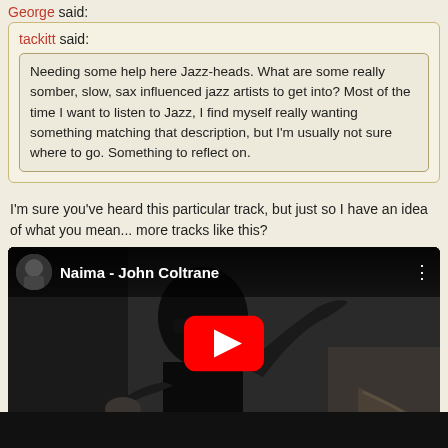George said:
tackitt said:
Needing some help here Jazz-heads. What are some really somber, slow, sax influenced jazz artists to get into? Most of the time I want to listen to Jazz, I find myself really wanting something matching that description, but I'm usually not sure where to go. Something to reflect on.
I'm sure you've heard this particular track, but just so I have an idea of what you mean... more tracks like this?
[Figure (screenshot): YouTube video embed showing 'Naima - John Coltrane' with a black and white photo of John Coltrane playing saxophone as the thumbnail, and a red YouTube play button in the center.]